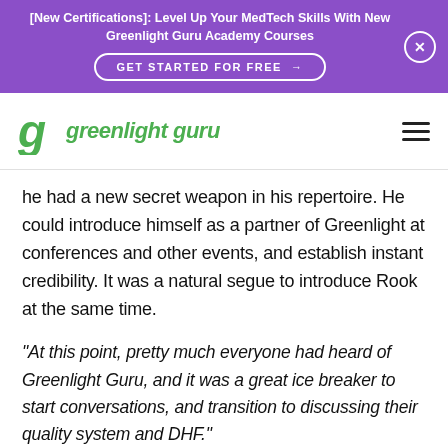[New Certifications]: Level Up Your MedTech Skills With New Greenlight Guru Academy Courses GET STARTED FOR FREE →
[Figure (logo): Greenlight Guru logo with green stylized G icon and green italic bold text 'greenlight guru']
he had a new secret weapon in his repertoire. He could introduce himself as a partner of Greenlight at conferences and other events, and establish instant credibility. It was a natural segue to introduce Rook at the same time.
“At this point, pretty much everyone had heard of Greenlight Guru, and it was a great ice breaker to start conversations, and transition to discussing their quality system and DHF.”
When Kyle is at a conference, he finds that Greenlight